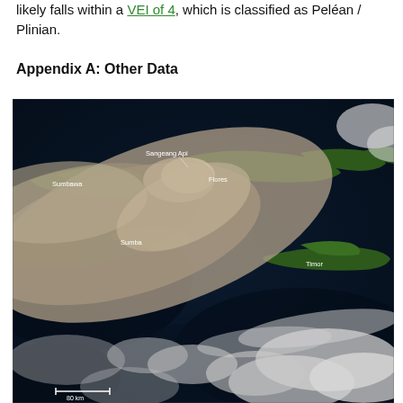likely falls within a VEI of 4, which is classified as Peléan / Plinian.
Appendix A: Other Data
[Figure (photo): Satellite image showing a volcanic ash plume from Sangeang Api volcano over the Indonesian islands of Sumbawa, Flores, Sumba, and Timor. The brownish-gray ash cloud spreads westward over dark ocean waters with clouds visible. Labels on the image identify: Sangeang Api, Sumbawa, Flores, Sumba, Timor. A scale bar in the lower left reads '80 km'.]